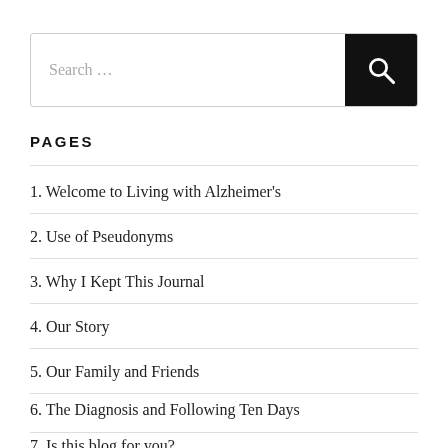[Figure (other): Search box with text input field and black search button with magnifying glass icon]
PAGES
1. Welcome to Living with Alzheimer's
2. Use of Pseudonyms
3. Why I Kept This Journal
4. Our Story
5. Our Family and Friends
6. The Diagnosis and Following Ten Days
7. Is this blog for you?